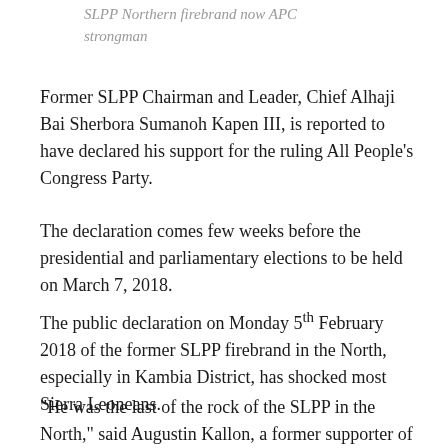SLPP Northern firebrand now APC strongman
Former SLPP Chairman and Leader, Chief Alhaji Bai Sherbora Sumanoh Kapen III, is reported to have declared his support for the ruling All People’s Congress Party.
The declaration comes few weeks before the presidential and parliamentary elections to be held on March 7, 2018.
The public declaration on Monday 5th February 2018 of the former SLPP firebrand in the North, especially in Kambia District, has shocked most Sierra Leoneans.
“He was the last of the rock of the SLPP in the North,” said Augustin Kallon, a former supporter of the SLPP now PMDC. “We were not expecting this. Some of us were thinking they will switch allegiance not to rejoin the National...